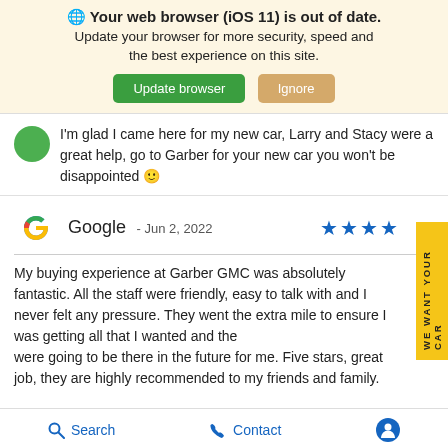🌐 Your web browser (iOS 11) is out of date. Update your browser for more security, speed and the best experience on this site.
I'm glad I came here for my new car, Larry and Stacy were a great help, go to Garber for your new car you won't be disappointed 🙂
Google - Jun 2, 2022 ★★★★
My buying experience at Garber GMC was absolutely fantastic. All the staff were friendly, easy to talk with and I never felt any pressure. They went the extra mile to ensure I was getting all that I wanted and they were going to be there in the future for me. Five stars, great job, they are highly recommended to my friends and family.
Search   Contact   (accessibility icon)